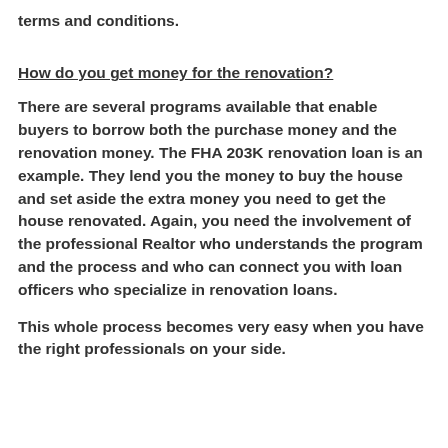terms and conditions.
How do you get money for the renovation?
There are several programs available that enable buyers to borrow both the purchase money and the renovation money. The FHA 203K renovation loan is an example. They lend you the money to buy the house and set aside the extra money you need to get the house renovated. Again, you need the involvement of the professional Realtor who understands the program and the process and who can connect you with loan officers who specialize in renovation loans.
This whole process becomes very easy when you have the right professionals on your side.